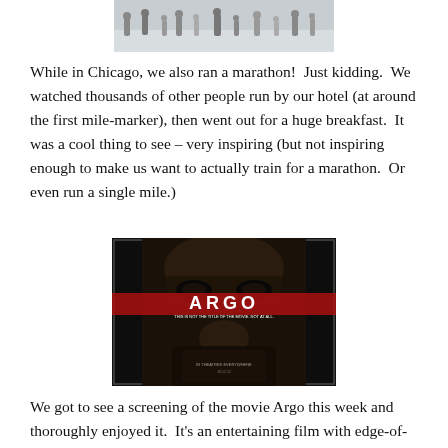[Figure (photo): Partial photo of people at a marathon, cropped at top of page]
While in Chicago, we also ran a marathon!  Just kidding.  We watched thousands of other people run by our hotel (at around the first mile-marker), then went out for a huge breakfast.  It was a cool thing to see – very inspiring (but not inspiring enough to make us want to actually train for a marathon.  Or even run a single mile.)
[Figure (photo): Movie poster for Argo, showing a bearded man's face with the movie title in red and white text]
We got to see a screening of the movie Argo this week and thoroughly enjoyed it.  It's an entertaining film with edge-of-your-seat thriller moments relieved by the occasional laugh-out-loud one-liners and rounded out